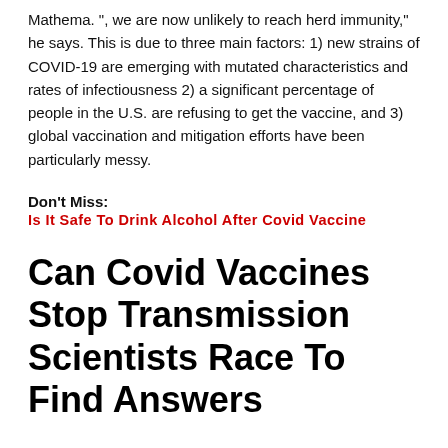Mathema. “, we are now unlikely to reach herd immunity,” he says. This is due to three main factors: 1) new strains of COVID-19 are emerging with mutated characteristics and rates of infectiousness 2) a significant percentage of people in the U.S. are refusing to get the vaccine, and 3) global vaccination and mitigation efforts have been particularly messy.
Don’t Miss:
Is It Safe To Drink Alcohol After Covid Vaccine
Can Covid Vaccines Stop Transmission Scientists Race To Find Answers
Vaccines that can block viral transmission will help control the pandemic Credit: Androa Fasani/EPA-EFE/Shutterstock